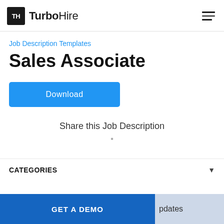TH TurboHire
Job Description Templates
Sales Associate
Download
Share this Job Description
CATEGORIES
GET A DEMO
pdates